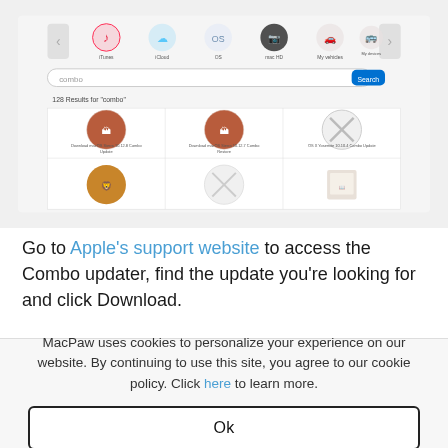[Figure (screenshot): Mac App Store search results page showing 'combo' search query with macOS Sierra update icons in a grid layout]
Go to Apple's support website to access the Combo updater, find the update you're looking for and click Download.
MacPaw uses cookies to personalize your experience on our website. By continuing to use this site, you agree to our cookie policy. Click here to learn more.
Ok